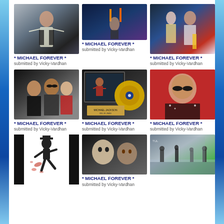[Figure (photo): Michael Jackson performing on stage with arms spread wide, white jacket]
* MICHAEL FOREVER *
submitted by Vicky-Vardhan
[Figure (photo): Concert/performance scene with blue lighting and fire torches]
* MICHAEL FOREVER *
submitted by Vicky-Vardhan
[Figure (photo): Michael Jackson with a female guitarist on stage]
* MICHAEL FOREVER *
submitted by Vicky-Vardhan
[Figure (photo): Michael Jackson with sunglasses posing with two other people]
* MICHAEL FOREVER *
submitted by Vicky-Vardhan
[Figure (photo): Framed gold record disc with Michael Jackson photo]
* MICHAEL FOREVER *
submitted by Vicky-Vardhan
[Figure (photo): Michael Jackson wearing sunglasses against red background]
* MICHAEL FOREVER *
submitted by Vicky-Vardhan
[Figure (illustration): Illustrated silhouette of Michael Jackson dancing with red splatter]
[Figure (photo): Scene from Thriller video with two faces]
* MICHAEL FOREVER *
submitted by Vicky-Vardhan
[Figure (photo): Outdoor scene with people on street/sidewalk]